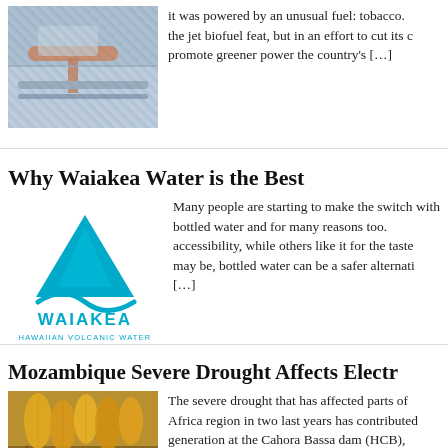[Figure (photo): Photo of fuel hose/pump at a dock or airport, partially visible at top]
it was powered by an unusual fuel: tobacco. the jet biofuel feat, but in an effort to cut its promote greener power the country's […]
Why Waiakea Water is the Best
[Figure (logo): Waiakea Hawaiian Volcanic Water logo with teal mountain/wave graphic]
Many people are starting to make the switch with bottled water and for many reasons too. accessibility, while others like it for the taste may be, bottled water can be a safer alternati […]
Mozambique Severe Drought Affects Electr
[Figure (photo): Photo of corn/maize ears]
The severe drought that has affected parts of Africa region in two last years has contributed generation at the Cahora Bassa dam (HCB), western Mozambican province of Tete. Nelse